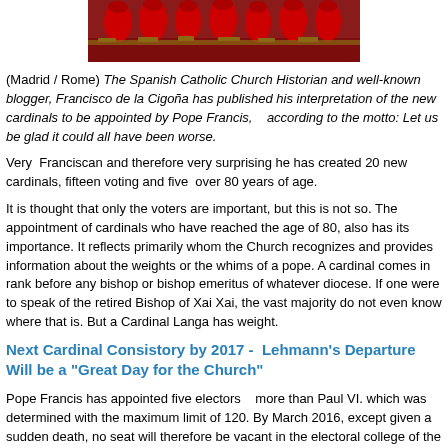[Figure (photo): Photo of cardinals in red robes seated at a long table]
(Madrid / Rome) The Spanish Catholic Church Historian and well-known blogger, Francisco de la Cigoña has published his interpretation of the new cardinals to be appointed by Pope Francis,   according to the motto: Let us be glad it could all have been worse.
Very  Franciscan and therefore very surprising he has created 20 new cardinals, fifteen voting and five  over 80 years of age.
It is thought that only the voters are important, but this is not so. The appointment of cardinals who have reached the age of 80, also has its importance. It reflects primarily whom the Church recognizes and provides information about the weights or the whims of a pope. A cardinal comes in rank before any bishop or bishop emeritus of whatever diocese. If one were to speak of the retired Bishop of Xai Xai, the vast majority do not even know where that is. But a Cardinal Langa has weight.
Next Cardinal Consistory by 2017 -  Lehmann's Departure Will be a "Great Day for the Church"
Pope Francis has appointed five electors   more than Paul VI. which was determined with the maximum limit of 120. By March 2016, except given a sudden death, no seat will therefore be vacant in the electoral college of the Catholic Church.The Cardinals Naguib (18 March 2015), Rigali (April 19), De Paolis (September 19), Abril (September 21) and Mahony (27 February 2016) will be the next to complete 80 years of age and retire. The Lorem